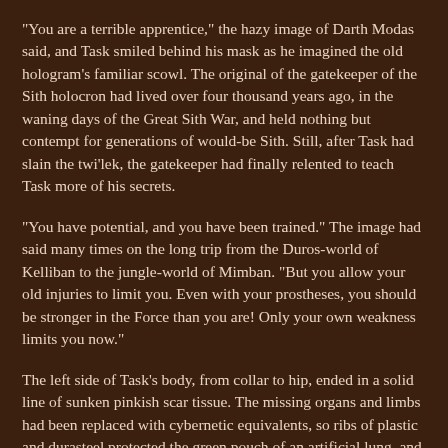“You are a terrible apprentice,” the hazy image of Darth Modas said, and Task smiled behind his mask as he imagined the old hologram’s familiar scowl. The original of the gatekeeper of the Sith holocron had lived over four thousand years ago, in the waning days of the Great Sith War, and held nothing but contempt for generations of would-be Sith. Still, after Task had slain the twi’lek, the gatekeeper had finally relented to teach Task more of his secrets.
“You have potential, and you have been trained.” The image had said many times on the long trip from the Duros-world of Kelliban to the jungle-world of Mimban. “But you allow your old injuries to limit you. Even with your prostheses, you should be stronger in the Force than you are! Only your own weakness limits you now.”
The left side of Task’s body, from collar to hip, ended in a solid line of sunken pinkish scar tissue. The missing organs and limbs had been replaced with cybernetic equivalents, so ribs of plastic and durasteel protected the green pouch of an artificial lung, and tiny electric engines whined to lift his